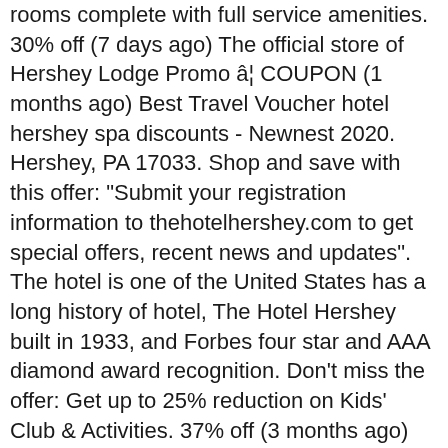rooms complete with full service amenities. 30% off (7 days ago) The official store of Hershey Lodge Promo â¦ COUPON (1 months ago) Best Travel Voucher hotel hershey spa discounts - Newnest 2020. Hershey, PA 17033. Shop and save with this offer: "Submit your registration information to thehotelhershey.com to get special offers, recent news and updates". The hotel is one of the United States has a long history of hotel, The Hotel Hershey built in 1933, and Forbes four star and AAA diamond award recognition. Don't miss the offer: Get up to 25% reduction on Kids' Club & Activities. 37% off (3 months ago) The Hotel Hershey Coupons July 2020: 37% OFF W/ The Hotel â¦ COUPON (23 days ago) Welcome to AAA To enjoy customized local content, please enter your ZIP Code below. 50% off Offer Details: (1 months ago) Aaa Hershey Lodge Promo Code - Best Coupon Codes. People can buy The Hotel Hershey offers and save hugely. You'll always find the best price at thehotelhershey.com. Special deals are pushed out! MORE+, It' as easy as a pie to place your order at the items you want with less money. COUPON (10 days ago) The Hotel Hershey Coupons 2021 P...